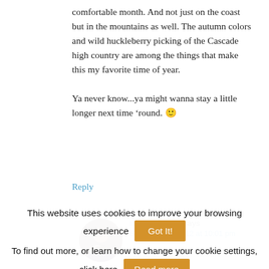comfortable month. And not just on the coast but in the mountains as well. The autumn colors and wild huckleberry picking of the Cascade high country are among the things that make this my favorite time of year.

Ya never know...ya might wanna stay a little longer next time ‘round. 🙂
Reply
libertatemamo says
September 5, 2012 at 10:01 pm
This website uses cookies to improve your browsing experience
Got It!
To find out more, or learn how to change your cookie settings, click here
Read more